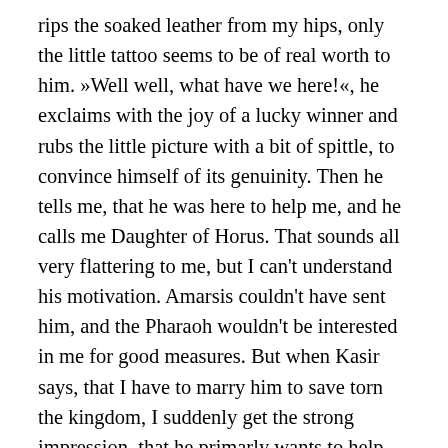rips the soaked leather from my hips, only the little tattoo seems to be of real worth to him. »Well well, what have we here!«, he exclaims with the joy of a lucky winner and rubs the little picture with a bit of spittle, to convince himself of its genuinity. Then he tells me, that he was here to help me, and he calls me Daughter of Horus. That sounds all very flattering to me, but I can't understand his motivation. Amarsis couldn't have sent him, and the Pharaoh wouldn't be interested in me for good measures. But when Kasir says, that I have to marry him to save torn the kingdom, I suddenly get the strong impression, that he primarly wants to help himself – to Egypt's gold and treasures!But I try to be nice to him: I keep his cup always full with wine and make smalltalk like a subordinate servant, I undress him and wash his tired body like a passionate wife and I prepare the bed for us like a loving mistress. The exhausted Khasir lies already flat on his back as the stress and the alcohol slowly take their toll. First I